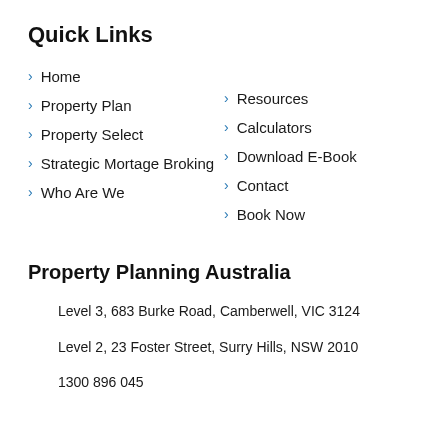Quick Links
Home
Property Plan
Property Select
Strategic Mortage Broking
Who Are We
Resources
Calculators
Download E-Book
Contact
Book Now
Property Planning Australia
Level 3, 683 Burke Road, Camberwell, VIC 3124
Level 2, 23 Foster Street, Surry Hills, NSW 2010
1300 896 045